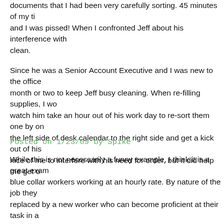documents that I had been very carefully sorting. 45 minutes of my time and I was pissed! When I confronted Jeff about his interference with my clean.
Since he was a Senior Account Executive and I was new to the office month or two to keep Jeff busy cleaning. When re-filling supplies, I wo watch him take an hour out of his work day to re-sort them one by one the left side of desk calendar to the right side and get a kick out of his nice of me to interfere with his need for order, but it did help me get o
Posted on 1/23/09 by Spike
While this is not necessarily a funny example, I think it is a great exam blue collar workers working at an hourly rate. By nature of the job they replaced by a new worker who can become proficient at their task in a year when the manager tries to squeeze in that much needed vacatio leaving the manager in a lurch and not able to take their vacation. Thi times! As with most passive aggressive personalities these people ar employees often work at the job for several years and do excellent wo employer for a reference on the employee. The answer is always a ne